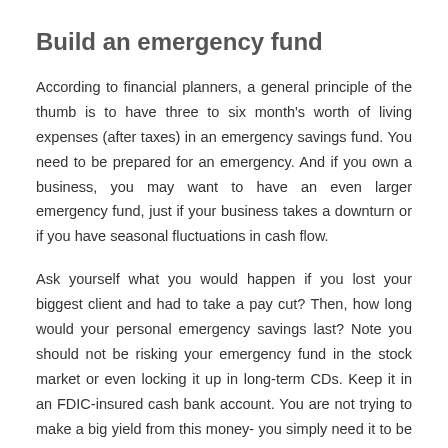Build an emergency fund
According to financial planners, a general principle of the thumb is to have three to six month's worth of living expenses (after taxes) in an emergency savings fund. You need to be prepared for an emergency. And if you own a business, you may want to have an even larger emergency fund, just if your business takes a downturn or if you have seasonal fluctuations in cash flow.
Ask yourself what you would happen if you lost your biggest client and had to take a pay cut? Then, how long would your personal emergency savings last? Note you should not be risking your emergency fund in the stock market or even locking it up in long-term CDs. Keep it in an FDIC-insured cash bank account. You are not trying to make a big yield from this money- you simply need it to be there if you have